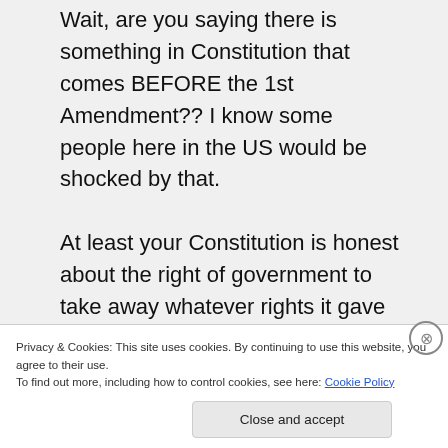Wait, are you saying there is something in Constitution that comes BEFORE the 1st Amendment?? I know some people here in the US would be shocked by that. At least your Constitution is honest about the right of government to take away whatever rights it gave you. Our government theoretically
Privacy & Cookies: This site uses cookies. By continuing to use this website, you agree to their use.
To find out more, including how to control cookies, see here: Cookie Policy
Close and accept